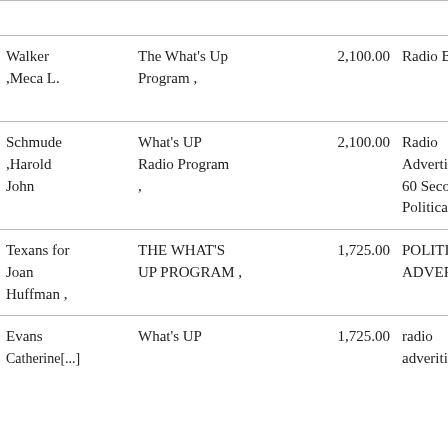| Name | Program | Amount | Type | Date |
| --- | --- | --- | --- | --- |
| Walker ,Meca L. | The What's Up Program , | 2,100.00 | Radio Buy | 0[...] 20[...] |
| Schmude ,Harold John | What's UP Radio Program , | 2,100.00 | Radio Advertising – 60 Second Political Ad | 0[...] 0[...] 20[...] |
| Texans for Joan Huffman , | THE WHAT'S UP PROGRAM , | 1,725.00 | POLITICAL ADVERTISING | 0[...] 28[...] 20[...] |
| Evans Catherine[...] | What's UP [...] | 1,725.00 | radio advertising[...] | 0[...] 28[...] |